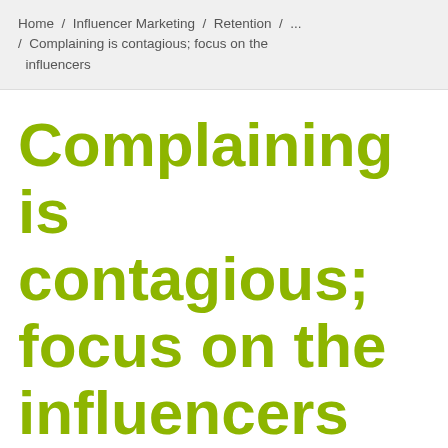Home / Influencer Marketing / Retention / ... / Complaining is contagious; focus on the influencers
Complaining is contagious; focus on the influencers
We use cookies to ensure you get the best user experience on our website. By continuing to use this site, you agree to the use of these cookies.
Find out more   Okay, I agree